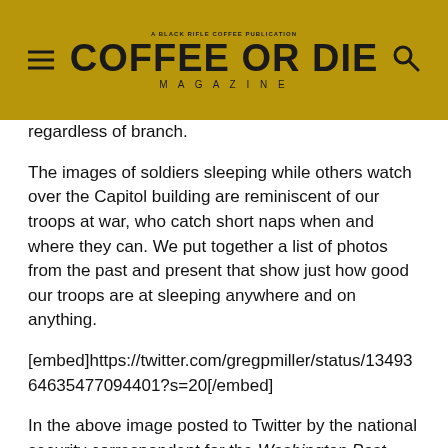COFFEE OR DIE MAGAZINE
regardless of branch.
The images of soldiers sleeping while others watch over the Capitol building are reminiscent of our troops at war, who catch short naps when and where they can. We put together a list of photos from the past and present that show just how good our troops are at sleeping anywhere and on anything.
[embed]https://twitter.com/gregpmiller/status/1349364635477094401?s=20[/embed]
In the above image posted to Twitter by the national security correspondent for the Washington Post, Greg Miller, you can see several National Guard troops sprawled out across the Capitol building's marble